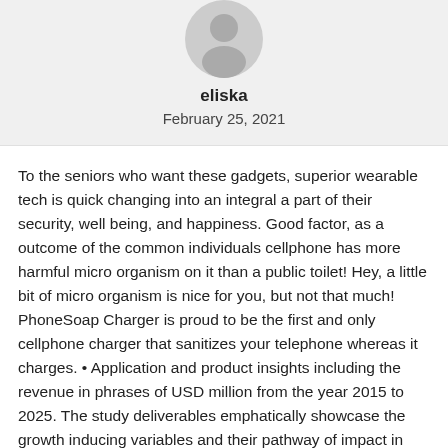[Figure (illustration): Gray circular avatar/profile picture placeholder with a silhouette of a person]
eliska
February 25, 2021
To the seniors who want these gadgets, superior wearable tech is quick changing into an integral a part of their security, well being, and happiness. Good factor, as a outcome of the common individuals cellphone has more harmful micro organism on it than a public toilet! Hey, a little bit of micro organism is nice for you, but not that much! PhoneSoap Charger is proud to be the first and only cellphone charger that sanitizes your telephone whereas it charges. • Application and product insights including the revenue in phrases of USD million from the year 2015 to 2025. The study deliverables emphatically showcase the growth inducing variables and their pathway of impact in accelerating the expansion of the Biohacking market.